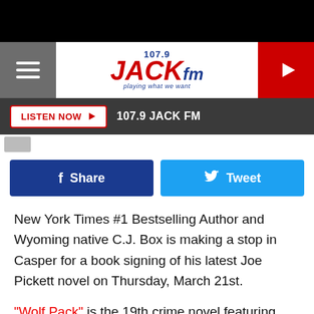[Figure (screenshot): 107.9 Jack FM radio station website header with hamburger menu, logo, and play button]
LISTEN NOW ▶  107.9 JACK FM
[Figure (screenshot): Small article thumbnail image]
[Figure (screenshot): Facebook Share and Twitter Tweet social sharing buttons]
New York Times #1 Bestselling Author and Wyoming native C.J. Box is making a stop in Casper for a book signing of his latest Joe Pickett novel on Thursday, March 21st.
"Wolf Pack" is the 19th crime novel featuring Wyoming Game Warden Joe Pickett, who when we last left him, had been suspended from his job and was in hot water.  As "Wolf Pack" opens things are looking up, at least at the start. "New house, new truck, a little bit of a raise," said Box. "but of